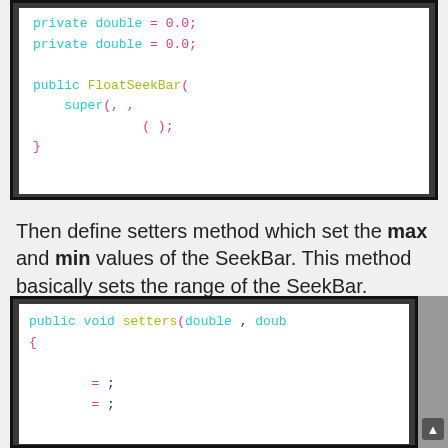[Figure (screenshot): Code screenshot showing Java class with private double fields set to 0.0, and a public FloatSeekBar constructor calling super() with parameters.]
Then define setters method which set the max and min values of the SeekBar. This method basically sets the range of the SeekBar.
[Figure (screenshot): Code screenshot showing public void setters(double, double) method with assignment statements.]